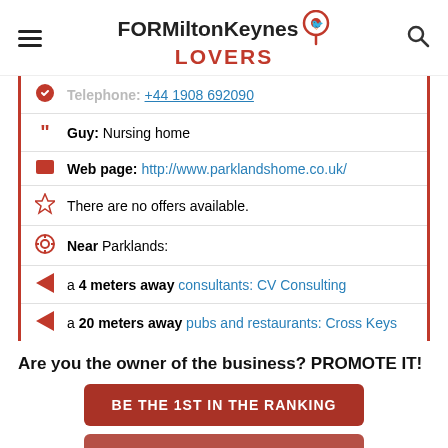FOR Milton Keynes LOVERS
Telephone: +44 1908 692090
Guy: Nursing home
Web page: http://www.parklandshome.co.uk/
There are no offers available.
Near Parklands:
a 4 meters away consultants: CV Consulting
a 20 meters away pubs and restaurants: Cross Keys
Are you the owner of the business? PROMOTE IT!
BE THE 1ST IN THE RANKING